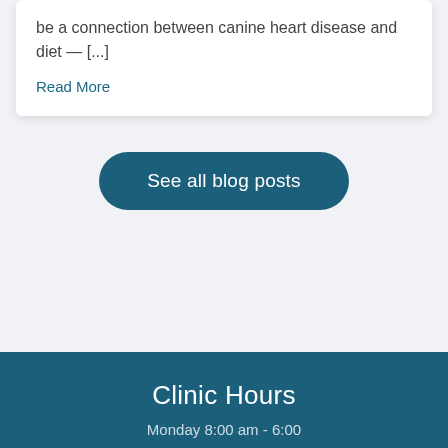be a connection between canine heart disease and diet — [...]
Read More
See all blog posts
Clinic Hours
Monday 8:00 am - 6:00